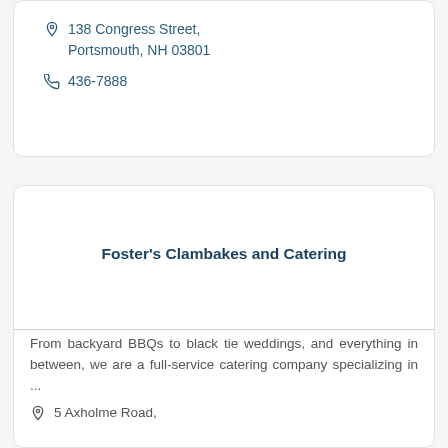138 Congress Street, Portsmouth, NH 03801
436-7888
Foster's Clambakes and Catering
From backyard BBQs to black tie weddings, and everything in between, we are a full-service catering company specializing in ...
5 Axholme Road,